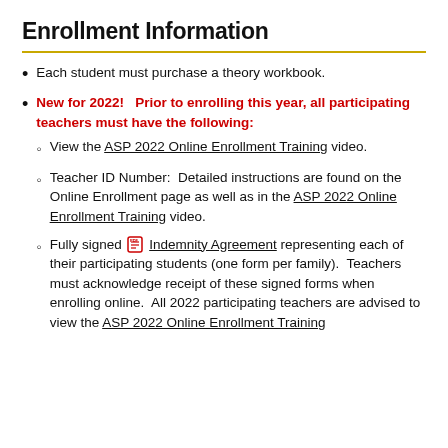Enrollment Information
Each student must purchase a theory workbook.
New for 2022!   Prior to enrolling this year, all participating teachers must have the following:
View the ASP 2022 Online Enrollment Training video.
Teacher ID Number:  Detailed instructions are found on the Online Enrollment page as well as in the ASP 2022 Online Enrollment Training video.
Fully signed [pdf icon] Indemnity Agreement representing each of their participating students (one form per family).  Teachers must acknowledge receipt of these signed forms when enrolling online.  All 2022 participating teachers are advised to view the ASP 2022 Online Enrollment Training video.